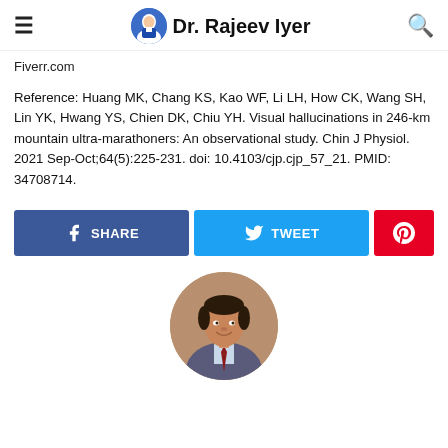Dr. Rajeev Iyer
Fiverr.com
Reference: Huang MK, Chang KS, Kao WF, Li LH, How CK, Wang SH, Lin YK, Hwang YS, Chien DK, Chiu YH. Visual hallucinations in 246-km mountain ultra-marathoners: An observational study. Chin J Physiol. 2021 Sep-Oct;64(5):225-231. doi: 10.4103/cjp.cjp_57_21. PMID: 34708714.
[Figure (other): Social sharing buttons: Facebook Share, Twitter Tweet, and Pinterest]
[Figure (photo): Circular profile photo of Dr. Rajeev Iyer, a man in professional attire]